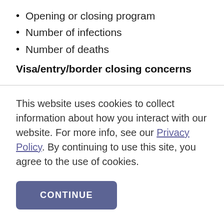Opening or closing program
Number of infections
Number of deaths
Visa/entry/border closing concerns
This website uses cookies to collect information about how you interact with our website. For more info, see our Privacy Policy. By continuing to use this site, you agree to the use of cookies.